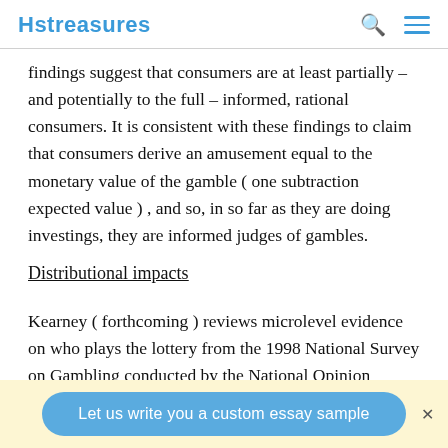Hstreasures
findings suggest that consumers are at least partially – and potentially to the full – informed, rational consumers. It is consistent with these findings to claim that consumers derive an amusement equal to the monetary value of the gamble ( one subtraction expected value ) , and so, in so far as they are doing investings, they are informed judges of gambles.
Distributional impacts
Kearney ( forthcoming ) reviews microlevel evidence on who plays the lottery from the 1998 National Survey on Gambling conducted by the National Opinion Research
Let us write you a custom essay sample